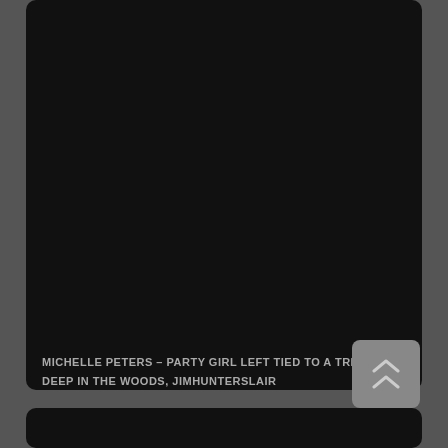[Figure (photo): Large dark/black image panel, nearly entirely black, representing a photograph or video thumbnail]
MICHELLE PETERS – PARTY GIRL LEFT TIED TO A TREE DEEP IN THE WOODS, JIMHUNTERSLAIR
[Figure (other): Scroll-to-top button with double chevron (upward arrows) on dark rounded square background]
[Figure (photo): Bottom dark panel, partial view of another card/thumbnail]